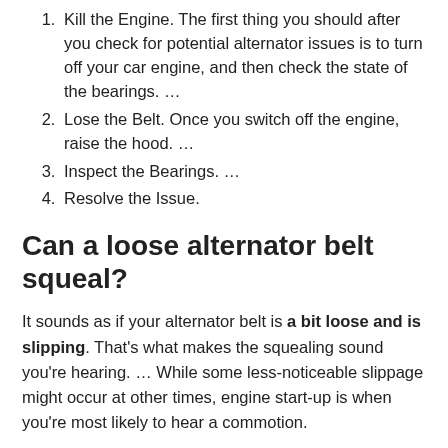Kill the Engine. The first thing you should after you check for potential alternator issues is to turn off your car engine, and then check the state of the bearings. …
Lose the Belt. Once you switch off the engine, raise the hood. …
Inspect the Bearings. …
Resolve the Issue.
Can a loose alternator belt squeal?
It sounds as if your alternator belt is a bit loose and is slipping. That's what makes the squealing sound you're hearing. … While some less-noticeable slippage might occur at other times, engine start-up is when you're most likely to hear a commotion.